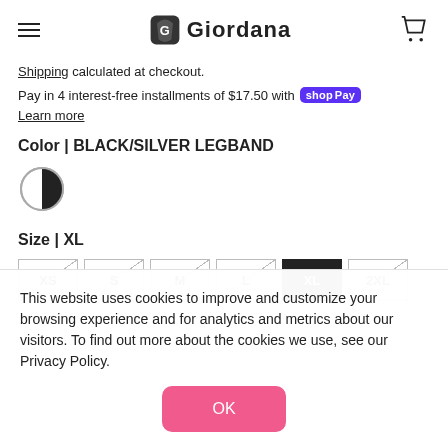Giordana (logo/nav header)
Shipping calculated at checkout.
Pay in 4 interest-free installments of $17.50 with Shop Pay  Learn more
Color | BLACK/SILVER LEGBAND
[Figure (illustration): Color swatch: half black half silver circle representing BLACK/SILVER LEGBAND color option]
Size | XL
[Figure (illustration): Size selection buttons: XS, S, M, L (with diagonal strikethrough), XL (selected, black background), 2XL (with diagonal strikethrough)]
This website uses cookies to improve and customize your browsing experience and for analytics and metrics about our visitors. To find out more about the cookies we use, see our Privacy Policy.